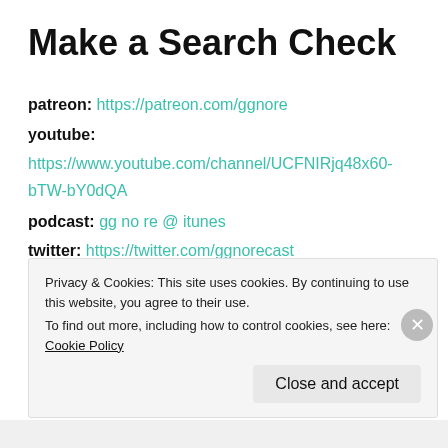Make a Search Check
patreon: https://patreon.com/ggnore
youtube: https://www.youtube.com/channel/UCFNIRjq48x60-bTW-bY0dQA
podcast: gg no re @ itunes
twitter: https://twitter.com/ggnorecast
anchor: https://anchor.fm/ggnore
Privacy & Cookies: This site uses cookies. By continuing to use this website, you agree to their use. To find out more, including how to control cookies, see here: Cookie Policy Close and accept